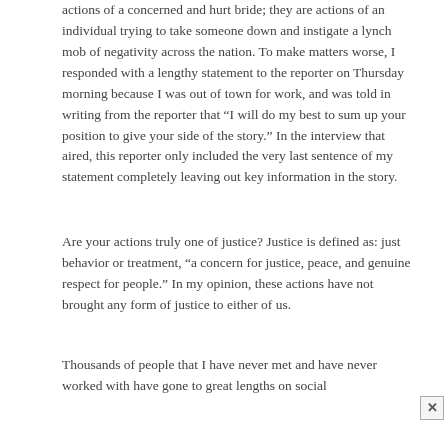actions of a concerned and hurt bride; they are actions of an individual trying to take someone down and instigate a lynch mob of negativity across the nation. To make matters worse, I responded with a lengthy statement to the reporter on Thursday morning because I was out of town for work, and was told in writing from the reporter that "I will do my best to sum up your position to give your side of the story." In the interview that aired, this reporter only included the very last sentence of my statement completely leaving out key information in the story.
Are your actions truly one of justice? Justice is defined as: just behavior or treatment, "a concern for justice, peace, and genuine respect for people." In my opinion, these actions have not brought any form of justice to either of us.
Thousands of people that I have never met and have never worked with have gone to great lengths on social